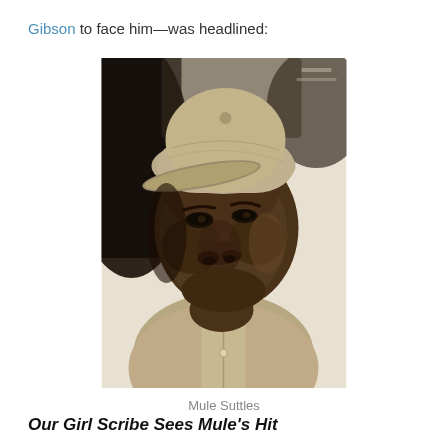Gibson to face him—was headlined:
[Figure (photo): Black and white portrait photograph of Mule Suttles, a baseball player wearing a baseball cap and uniform, looking slightly to the side.]
Mule Suttles
Our Girl Scribe Sees Mule's Hit